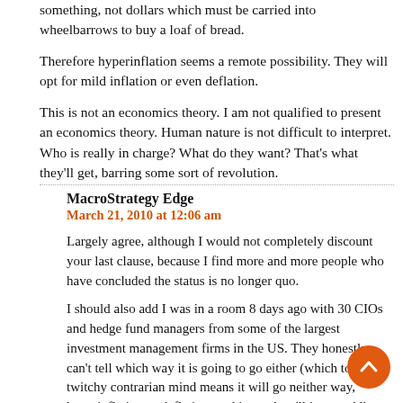something, not dollars which must be carried into wheelbarrows to buy a loaf of bread.
Therefore hyperinflation seems a remote possibility. They will opt for mild inflation or even deflation.
This is not an economics theory. I am not qualified to present an economics theory. Human nature is not difficult to interpret. Who is really in charge? What do they want? That's what they'll get, barring some sort of revolution.
MacroStrategy Edge
March 21, 2010 at 12:06 am
Largely agree, although I would not completely discount your last clause, because I find more and more people who have concluded the status is no longer quo.
I should also add I was in a room 8 days ago with 30 CIOs and hedge fund managers from some of the largest investment management firms in the US. They honestly can't tell which way it is going to go either (which to my twitchy contrarian mind means it will go neither way, hyperinflation or deflation, and instead we'll just muddle through with low inflation – how very boring is that?) although in the flavor of the investment recommendations they brought to the table, I detected more than a hint of a